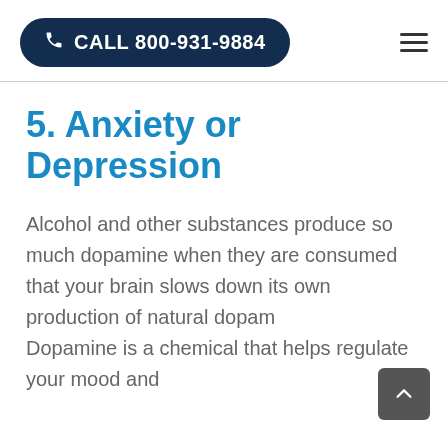CALL 800-931-9884
5. Anxiety or Depression
Alcohol and other substances produce so much dopamine when they are consumed that your brain slows down its own production of natural dopamine. Dopamine is a chemical that helps regulate your mood and